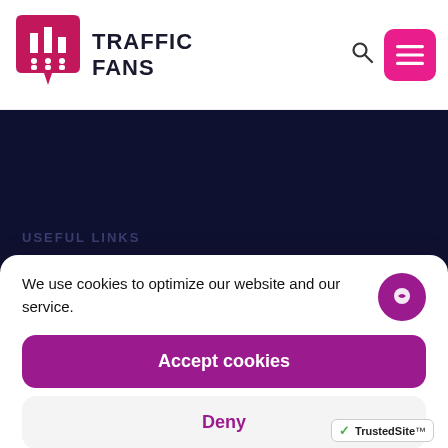[Figure (logo): Traffic Fans logo with pink speech bubble icon containing a bar chart and people icons, next to bold text TRAFFIC FANS]
USEFUL LINKS
We use cookies to optimize our website and our service.
Accept cookies
Deny
View preferences
Privacy Policy  Privacy Policy
[Figure (logo): TrustedSite badge with green checkmark]